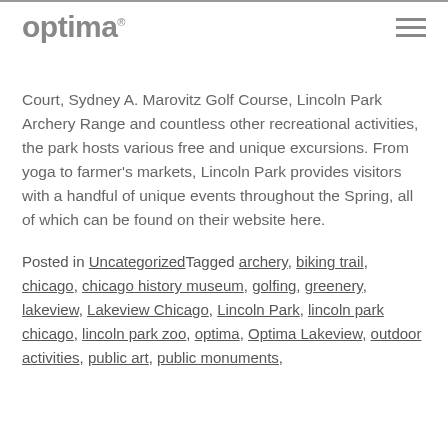optima
Court, Sydney A. Marovitz Golf Course, Lincoln Park Archery Range and countless other recreational activities, the park hosts various free and unique excursions. From yoga to farmer's markets, Lincoln Park provides visitors with a handful of unique events throughout the Spring, all of which can be found on their website here.
Posted in Uncategorized Tagged archery, biking trail, chicago, chicago history museum, golfing, greenery, lakeview, Lakeview Chicago, Lincoln Park, lincoln park chicago, lincoln park zoo, optima, Optima Lakeview, outdoor activities, public art, public monuments,